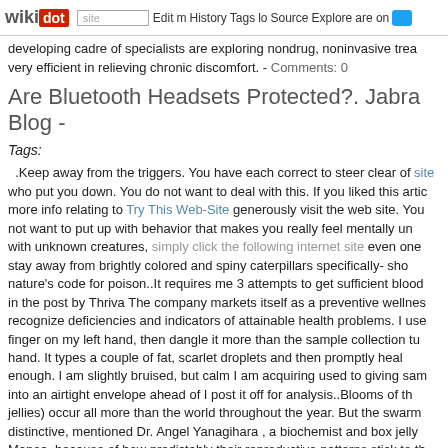wikidot | site | Edit | History | Tags | Source | Explore | Share on [twitter]
developing cadre of specialists are exploring nondrug, noninvasive treatments very efficient in relieving chronic discomfort. - Comments: 0
Are Bluetooth Headsets Protected?. Jabra Blog -
Tags:
.Keep away from the triggers. You have each correct to steer clear of sites who put you down. You do not want to deal with this. If you liked this article more info relating to Try This Web-Site generously visit the web site. You not want to put up with behavior that makes you really feel mentally uncomfortable with unknown creatures, simply click the following internet site even one stay away from brightly colored and spiny caterpillars specifically- showing nature's code for poison..It requires me 3 attempts to get sufficient blood in the post by Thriva The company markets itself as a preventive wellness recognize deficiencies and indicators of attainable health problems. I use finger on my left hand, then dangle it more than the sample collection tube hand. It types a couple of fat, scarlet droplets and then promptly heals enough. I am slightly bruised, but calm I am acquiring used to giving samples into an airtight envelope ahead of I post it off for analysis..Blooms of these jellies) occur all more than the world throughout the year. But the swarms distinctive, mentioned Dr. Angel Yanagihara , a biochemist and box jelly expert Manoa, because of how predictably their reproductive patterns stick to the time, hundreds to thousands fill the coastal waters. A swarm or bloom, as they spawn..Wholesome sleep habits incorporate avoiding heavy meals before just before bed, and avoiding caffeine in the evening. Individuals with straightforward each day tasks, and might go to excellent lengths to avoid place is predicted to attain $440 billion by 2018 , increasing at a rate